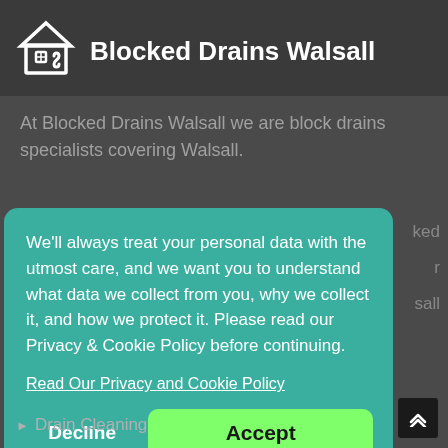[Figure (logo): Blocked Drains Walsall logo - white house icon with drain swirl]
Blocked Drains Walsall
At Blocked Drains Walsall we are block drains specialists covering Walsall.
We'll always treat your personal data with the utmost care, and we want you to understand what data we collect from you, why we collect it, and how we protect it. Please read our Privacy & Cookie Policy before continuing.
Read Our Privacy and Cookie Policy
Decline
Accept
Drain Cleaning